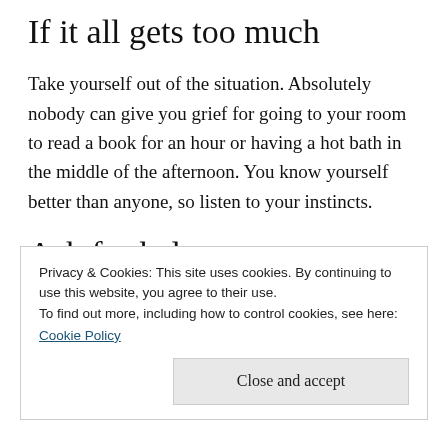If it all gets too much
Take yourself out of the situation. Absolutely nobody can give you grief for going to your room to read a book for an hour or having a hot bath in the middle of the afternoon. You know yourself better than anyone, so listen to your instincts.
Ask for help
I'm the worst when it comes to cooking the Christmas dinner. I do not know how to ask for help and end up
Privacy & Cookies: This site uses cookies. By continuing to use this website, you agree to their use.
To find out more, including how to control cookies, see here:
Cookie Policy
Close and accept